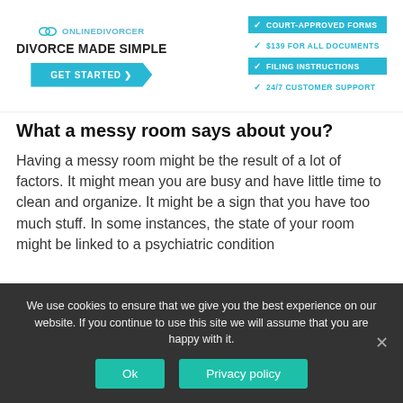[Figure (infographic): OnlineDivorcer banner ad with logo, tagline DIVORCE MADE SIMPLE, GET STARTED button with arrow, and four feature items: COURT-APPROVED FORMS, $139 FOR ALL DOCUMENTS, FILING INSTRUCTIONS, 24/7 CUSTOMER SUPPORT]
What a messy room says about you?
Having a messy room might be the result of a lot of factors. It might mean you are busy and have little time to clean and organize. It might be a sign that you have too much stuff. In some instances, the state of your room might be linked to a psychiatric condition
We use cookies to ensure that we give you the best experience on our website. If you continue to use this site we will assume that you are happy with it.
Ok
Privacy policy